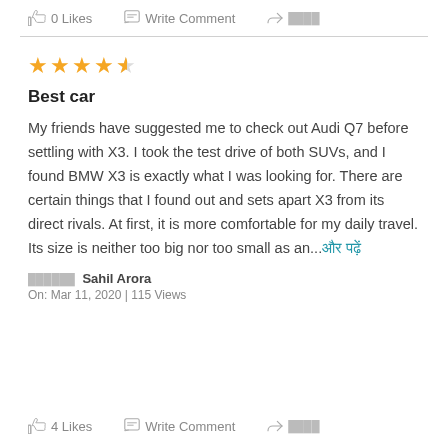0 Likes   Write Comment   ████
Best car
My friends have suggested me to check out Audi Q7 before settling with X3. I took the test drive of both SUVs, and I found BMW X3 is exactly what I was looking for. There are certain things that I found out and sets apart X3 from its direct rivals. At first, it is more comfortable for my daily travel. Its size is neither too big nor too small as an...और पढ़ें
██████ Sahil Arora
On: Mar 11, 2020 | 115 Views
4 Likes   Write Comment   ████